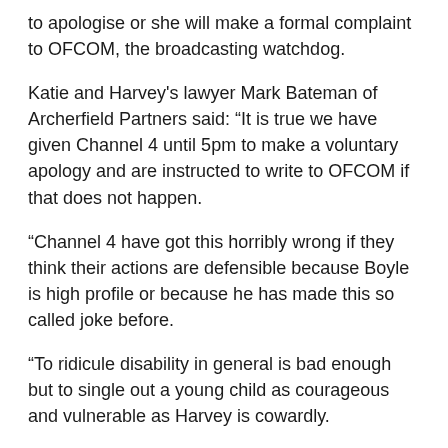to apologise or she will make a formal complaint to OFCOM, the broadcasting watchdog.
Katie and Harvey's lawyer Mark Bateman of Archerfield Partners said: “It is true we have given Channel 4 until 5pm to make a voluntary apology and are instructed to write to OFCOM if that does not happen.
“Channel 4 have got this horribly wrong if they think their actions are defensible because Boyle is high profile or because he has made this so called joke before.
“To ridicule disability in general is bad enough but to single out a young child as courageous and vulnerable as Harvey is cowardly.
“This attack is not an attack on a high profile individual it is an attack on a disabled child. With free speech comes responsibility and Channel 4 have shown themselves to be